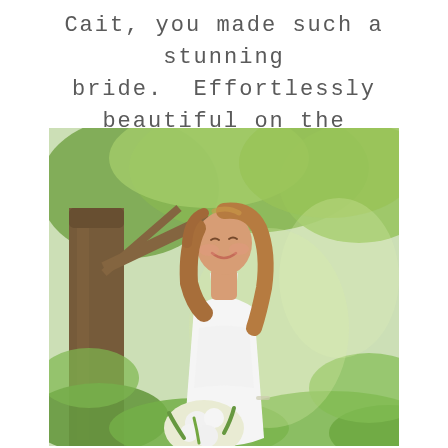Cait, you made such a stunning bride.  Effortlessly beautiful on the inside and out!
[Figure (photo): A smiling bride in a white sleeveless wedding dress holding a bouquet of white flowers and greenery, standing in a lush green outdoor setting with trees in the background.]